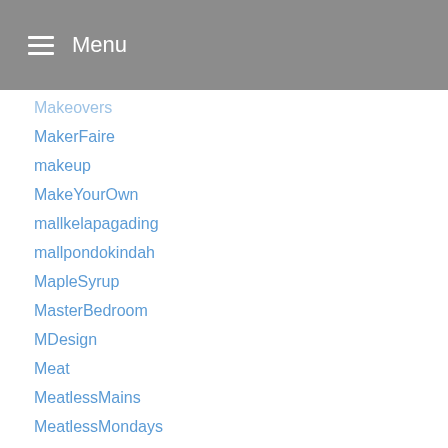Menu
Makeovers
MakerFaire
makeup
MakeYourOwn
mallkelapagading
mallpondokindah
MapleSyrup
MasterBedroom
MDesign
Meat
MeatlessMains
MeatlessMondays
MeatRecipes
Meats
MedicineBallMakeItYourself
MedicineSklep
Mediterranean